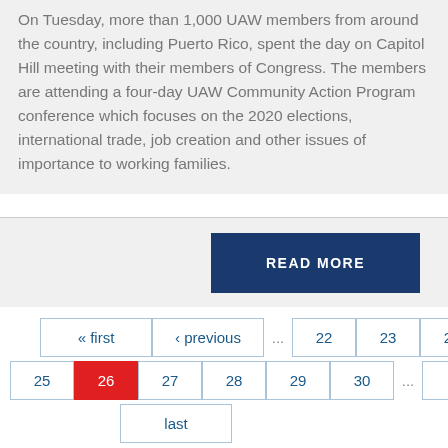On Tuesday, more than 1,000 UAW members from around the country, including Puerto Rico, spent the day on Capitol Hill meeting with their members of Congress. The members are attending a four-day UAW Community Action Program conference which focuses on the 2020 elections, international trade, job creation and other issues of importance to working families.
READ MORE
« first
‹ previous
...
22
23
24
25
26
27
28
29
30
...
next ›
last